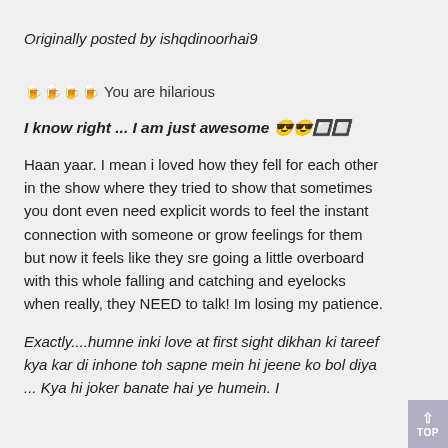Originally posted by ishqdinoorhai9
🍺🍺🍺🍺 You are hilarious
I know right ... I am just awesome 😎😎
Haan yaar. I mean i loved how they fell for each other in the show where they tried to show that sometimes you dont even need explicit words to feel the instant connection with someone or grow feelings for them but now it feels like they sre going a little overboard with this whole falling and catching and eyelocks when really, they NEED to talk! Im losing my patience.
Exactly....humne inki love at first sight dikhan ki tareef kya kar di inhone toh sapne mein hi jeene ko bol diya ... Kya hi joker banate hai ye humein. I